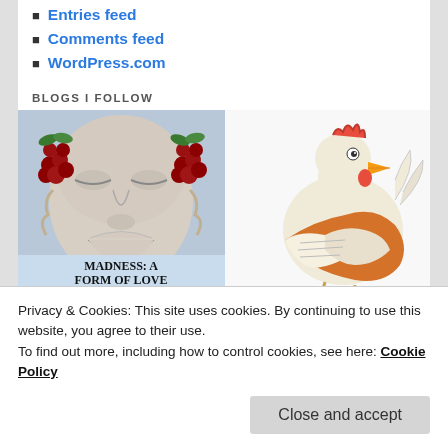Entries feed
Comments feed
WordPress.com
BLOGS I FOLLOW
[Figure (illustration): Book cover: Madness: A Form of Love by Max J. Lewy — classical mask sculpture with fruit decoration]
[Figure (illustration): Cartoon illustration of a chicken/rooster reading an orange book]
[Figure (photo): Dark photo, partially visible at bottom left]
[Figure (photo): Light blue/grey partial image at bottom right]
Privacy & Cookies: This site uses cookies. By continuing to use this website, you agree to their use.
To find out more, including how to control cookies, see here: Cookie Policy
Close and accept